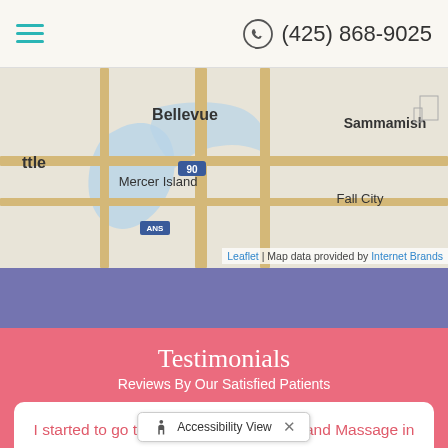(425) 868-9025
[Figure (map): Street map showing Bellevue, Sammamish, Mercer Island, Fall City, Seattle (ttle) area in Washington state. Map powered by Leaflet with data from Internet Brands.]
Testimonials
Reviews By Our Satisfied Patients
I started to go to Precision Chiropractic and Massage in 2014 for the Ideal Protein program, had a great experience and reached my goal. Then I returned to [obscured] ago for